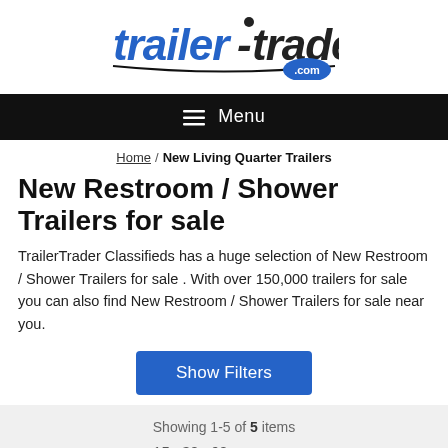[Figure (logo): trailer-traders.com logo with blue and black stylized text and .com badge]
≡ Menu
Home / New Living Quarter Trailers
New Restroom / Shower Trailers for sale
TrailerTrader Classifieds has a huge selection of New Restroom / Shower Trailers for sale . With over 150,000 trailers for sale you can also find New Restroom / Shower Trailers for sale near you.
Show Filters
Showing 1-5 of 5 items
15  30  60  per page
Page: 1